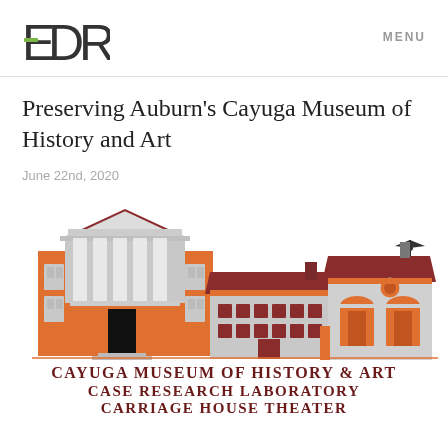EDR   MENU
Preserving Auburn’s Cayuga Museum of History and Art
June 22nd, 2020
[Figure (illustration): Illustration logo of Cayuga Museum of History & Art buildings (main orange/grey neoclassical building with columns, smaller red-roofed middle building, and carriage house on right) with text 'Cayuga Museum of History & Art / Case Research Laboratory / Carriage House Theater' below in dark red small caps.]